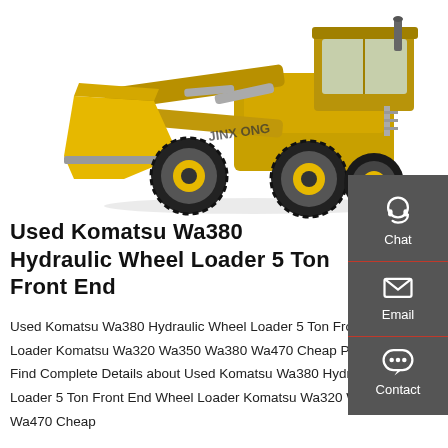[Figure (photo): Yellow Jinzhong front-end hydraulic wheel loader (similar to Komatsu Wa380) on white background, shown in three-quarter front view with large bucket raised slightly.]
Used Komatsu Wa380 Hydraulic Wheel Loader 5 Ton Front End
Used Komatsu Wa380 Hydraulic Wheel Loader 5 Ton Front End Wheel Loader Komatsu Wa320 Wa350 Wa380 Wa470 Cheap Price For Sale, Find Complete Details about Used Komatsu Wa380 Hydraulic Wheel Loader 5 Ton Front End Wheel Loader Komatsu Wa320 Wa350 Wa380 Wa470 Cheap